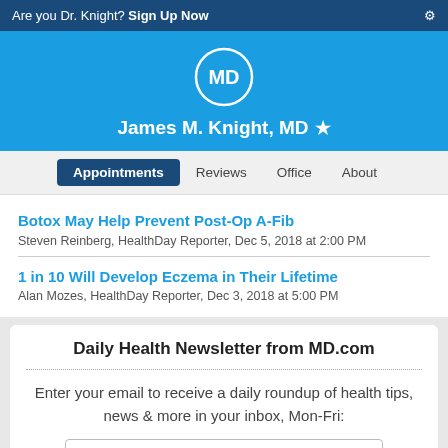Are you Dr. Knight? Sign Up Now
[Figure (logo): MD.com circular logo in white on blue background]
James M. Knight, MD ★
Appointments  Reviews  Office  About
Botox May Help Prevent Post-Op A-Fib
Steven Reinberg, HealthDay Reporter, Dec 5, 2018 at 2:00 PM
1 in 10 Will Develop Eczema in Their Lifetime
Alan Mozes, HealthDay Reporter, Dec 3, 2018 at 5:00 PM
Daily Health Newsletter from MD.com
Enter your email to receive a daily roundup of health tips, news & more in your inbox, Mon-Fri: